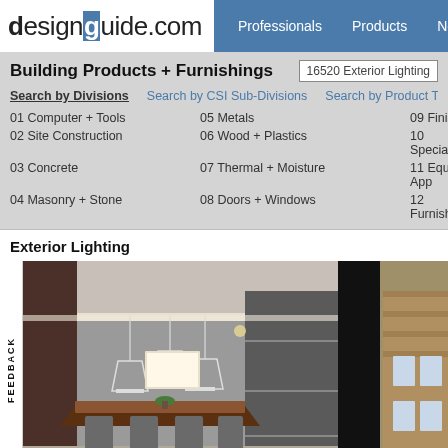designguide.com  Professionals  Products  News  + W
Building Products + Furnishings
16520 Exterior Lighting
Search by Divisions
Search by CSI Sub-Divisions
Search by Product Type
Sea
01 Computer + Tools
05 Metals
09 Finishes
02 Site Construction
06 Wood + Plastics
10 Specialties
03 Concrete
07 Thermal + Moisture
11 Equip. + App
04 Masonry + Stone
08 Doors + Windows
12 Furnishings
Exterior Lighting
[Figure (photo): Interior room with pendant lights over a long wooden dining/conference table, modern design with ambient ceiling lighting]
[Figure (photo): Exterior building photo partially visible, dark foreground, brick building visible at right]